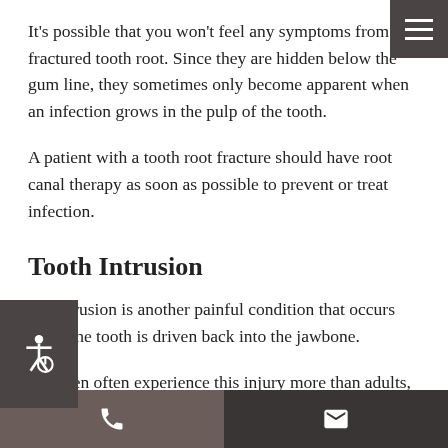It’s possible that you won’t feel any symptoms from a fractured tooth root. Since they are hidden below the gum line, they sometimes only become apparent when an infection grows in the pulp of the tooth.
A patient with a tooth root fracture should have root canal therapy as soon as possible to prevent or treat infection.
Tooth Intrusion
Tooth intrusion is another painful condition that occurs when the tooth is driven back into the jawbone.
Children often experience this injury more than adults, as the alveolar bones that hold their tooth sockets are not as strong as those of adults.
Depending on whether it is a primary (baby) tooth or a
phone | email